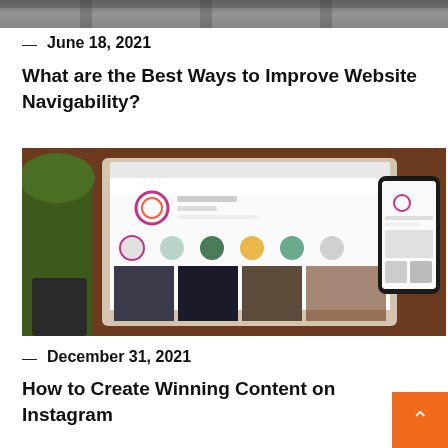[Figure (photo): Top partial image of a person in front of industrial ceiling background]
— June 18, 2021
What are the Best Ways to Improve Website Navigability?
[Figure (photo): Photo of a laptop displaying Instagram profile page next to a smartphone also showing Instagram, with a plant in the background]
— December 31, 2021
How to Create Winning Content on Instagram